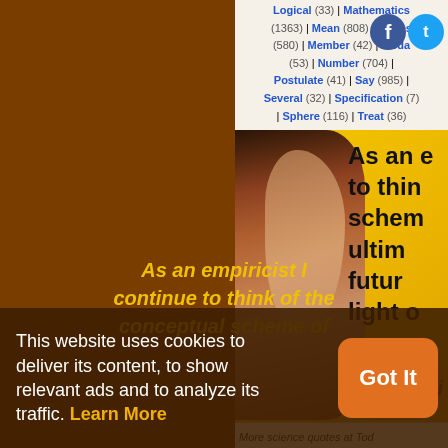Logical (33) | Mathematics (1363) | Mean (808) | Means (580) | Member (42) | Modal (53) | Number (704) | Postulate (41) | Say (985) | Several (32) | Specification (7) | Sphere (116) | Treat (36)
[Figure (photo): Photo of an elderly man's face against a yellow background with large black text reading 'As an e... to thin... schem... ultim... futur... light o...' and red italic attribution 'Wi...' with source bar 'More science quotes at Tod...']
This website uses cookies to deliver its content, to show relevant ads and to analyze its traffic. Learn More
As an empiricist I continue to think of the conceptual scheme of